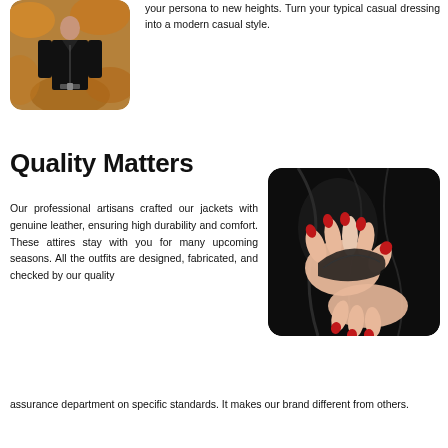[Figure (photo): Person wearing a black leather jacket outdoors with autumn leaves in background]
your persona to new heights. Turn your typical casual dressing into a modern casual style.
Quality Matters
Our professional artisans crafted our jackets with genuine leather, ensuring high durability and comfort. These attires stay with you for many upcoming seasons. All the outfits are designed, fabricated, and checked by our quality assurance department on specific standards. It makes our brand different from others.
[Figure (photo): Close-up of hands with red nail polish touching black leather jacket material]